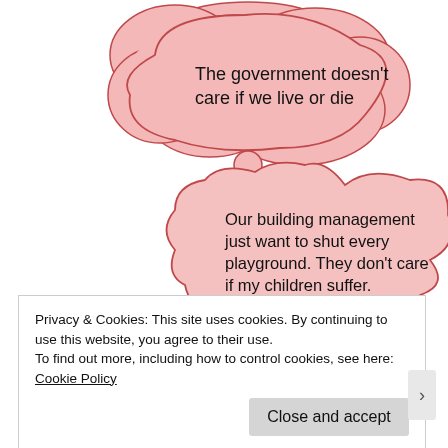[Figure (illustration): Two thought bubbles in pink/rose color. The first (upper) bubble contains text: 'The government doesn't care if we live or die'. The second (lower) bubble contains text: 'Our building management just want to shut every playground. They don't care if my children suffer.' with smaller circles trailing down-left indicating thought direction.]
Privacy & Cookies: This site uses cookies. By continuing to use this website, you agree to their use.
To find out more, including how to control cookies, see here: Cookie Policy
Close and accept